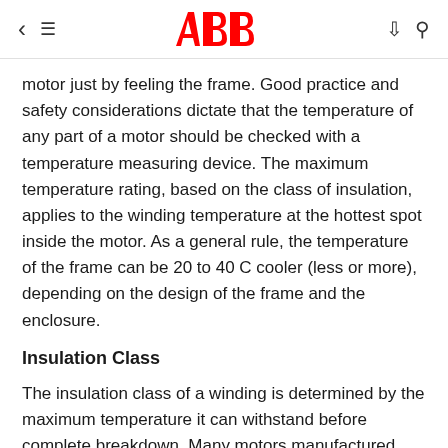ABB
motor just by feeling the frame. Good practice and safety considerations dictate that the temperature of any part of a motor should be checked with a temperature measuring device. The maximum temperature rating, based on the class of insulation, applies to the winding temperature at the hottest spot inside the motor. As a general rule, the temperature of the frame can be 20 to 40 C cooler (less or more), depending on the design of the frame and the enclosure.
Insulation Class
The insulation class of a winding is determined by the maximum temperature it can withstand before complete breakdown. Many motors manufactured today use a Class F